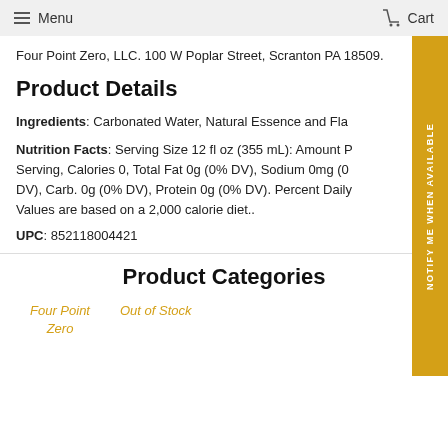Menu  Cart
Four Point Zero, LLC. 100 W Poplar Street, Scranton PA 18509.
Product Details
Ingredients: Carbonated Water, Natural Essence and Fla...
Nutrition Facts: Serving Size 12 fl oz (355 mL): Amount Per Serving, Calories 0, Total Fat 0g (0% DV), Sodium 0mg (0% DV), Carb. 0g (0% DV), Protein 0g (0% DV). Percent Daily Values are based on a 2,000 calorie diet..
UPC: 852118004421
Product Categories
Four Point Zero
Out of Stock